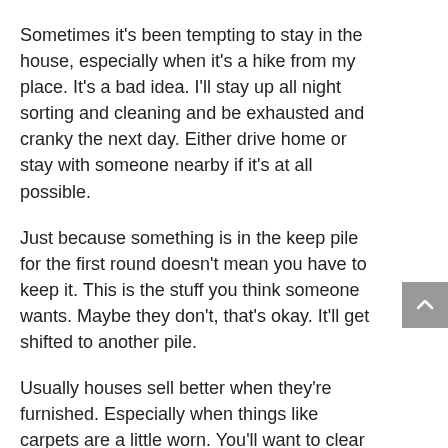Sometimes it's been tempting to stay in the house, especially when it's a hike from my place. It's a bad idea. I'll stay up all night sorting and cleaning and be exhausted and cranky the next day. Either drive home or stay with someone nearby if it's at all possible.
Just because something is in the keep pile for the first round doesn't mean you have to keep it. This is the stuff you think someone wants. Maybe they don't, that's okay. It'll get shifted to another pile.
Usually houses sell better when they're furnished. Especially when things like carpets are a little worn. You'll want to clear pretty much everything out, aside from a minimum amount of furniture. Then add a few knicknacks and things back in until it feels comfortable. Don't put anything too personal on display, trophies and souvenirs and landscapes are